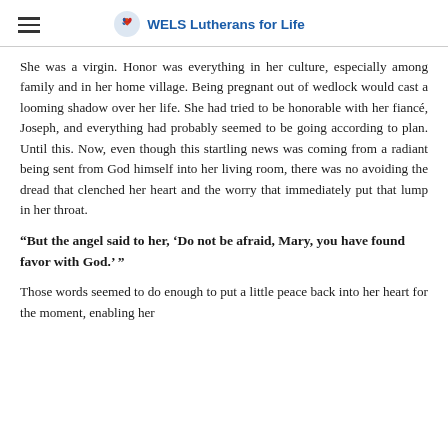WELS Lutherans for Life
She was a virgin. Honor was everything in her culture, especially among family and in her home village. Being pregnant out of wedlock would cast a looming shadow over her life. She had tried to be honorable with her fiancé, Joseph, and everything had probably seemed to be going according to plan. Until this. Now, even though this startling news was coming from a radiant being sent from God himself into her living room, there was no avoiding the dread that clenched her heart and the worry that immediately put that lump in her throat.
"But the angel said to her, 'Do not be afraid, Mary, you have found favor with God.' "
Those words seemed to do enough to put a little peace back into her heart for the moment, enabling her